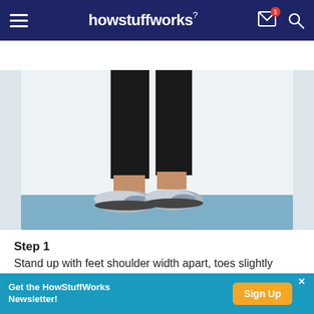howstuffworks
Sign up for our Newsletter!
[Figure (photo): Lower body of a person standing in black athletic pants and silver/gray sneakers on a blue exercise mat against a white background]
Step 1
Stand up with feet shoulder width apart, toes slightly pointed out and medicine ball overhead.
Get the HowStuffWorks Newsletter!  Sign Up